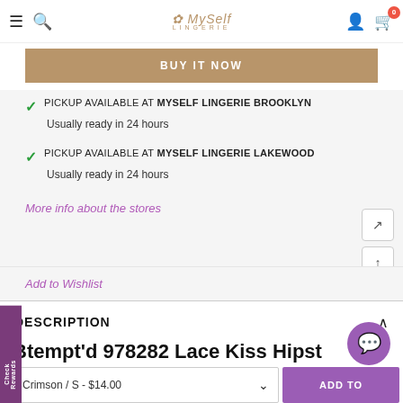MySelf LINGERIE — navigation bar with hamburger menu, search, logo, user icon, cart (0)
BUY IT NOW
PICKUP AVAILABLE AT MYSELF LINGERIE BROOKLYN
Usually ready in 24 hours
PICKUP AVAILABLE AT MYSELF LINGERIE LAKEWOOD
Usually ready in 24 hours
More info about the stores
Add to Wishlist
DESCRIPTION
Btempt'd 978282 Lace Kiss Hipst
Crimson / S - $14.00
ADD TO